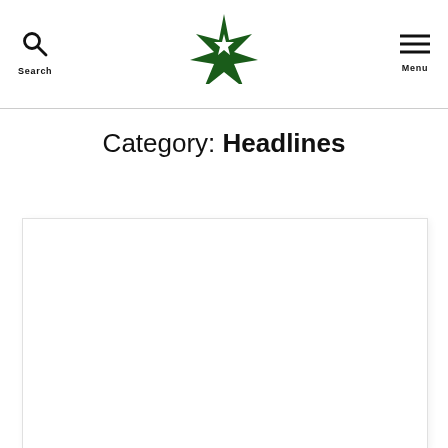Search | [Logo] | Menu
Category: Headlines
[Figure (other): Content card placeholder / article thumbnail area, white rectangle with border]